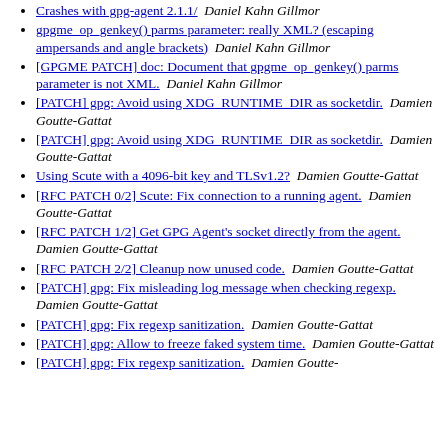Crashes with gpg-agent 2.1.1/  Daniel Kahn Gillmor
gpgme_op_genkey() parms parameter: really XML? (escaping ampersands and angle brackets)  Daniel Kahn Gillmor
[GPGME PATCH] doc: Document that gpgme_op_genkey() parms parameter is not XML.  Daniel Kahn Gillmor
[PATCH] gpg: Avoid using XDG_RUNTIME_DIR as socketdir.  Damien Goutte-Gattat
[PATCH] gpg: Avoid using XDG_RUNTIME_DIR as socketdir.  Damien Goutte-Gattat
Using Scute with a 4096-bit key and TLSv1.2?  Damien Goutte-Gattat
[RFC PATCH 0/2] Scute: Fix connection to a running agent.  Damien Goutte-Gattat
[RFC PATCH 1/2] Get GPG Agent's socket directly from the agent.  Damien Goutte-Gattat
[RFC PATCH 2/2] Cleanup now unused code.  Damien Goutte-Gattat
[PATCH] gpg: Fix misleading log message when checking regexp.  Damien Goutte-Gattat
[PATCH] gpg: Fix regexp sanitization.  Damien Goutte-Gattat
[PATCH] gpg: Allow to freeze faked system time.  Damien Goutte-Gattat
[PATCH] gpg: Fix regexp sanitization.  Damien Goutte-